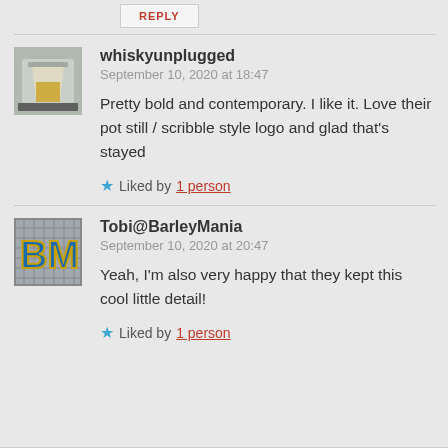REPLY
whiskyunplugged
September 10, 2020 at 18:47
Pretty bold and contemporary. I like it. Love their pot still / scribble style logo and glad that's stayed
Liked by 1 person
Tobi@BarleyMania
September 10, 2020 at 20:47
Yeah, I'm also very happy that they kept this cool little detail!
Liked by 1 person